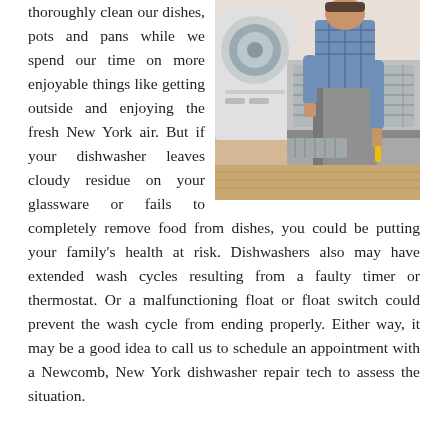thoroughly clean our dishes, pots and pans while we spend our time on more enjoyable things like getting outside and enjoying the fresh New York air. But if your dishwasher leaves cloudy residue on your glassware or fails to completely remove food from dishes, you could be putting your family's health at risk. Dishwashers also may have extended wash cycles resulting from a faulty timer or thermostat. Or a malfunctioning float or float switch could prevent the wash cycle from ending properly. Either way, it may be a good idea to call us to schedule an appointment with a Newcomb, New York dishwasher repair tech to assess the situation.
[Figure (photo): Photo of a technician repairing a dishwasher, with a washing machine visible in the background. The technician is kneeling and working on the open dishwasher door.]
Essex County Refrigerator Repair Techs
A refrigerator may be the most important appliance in your